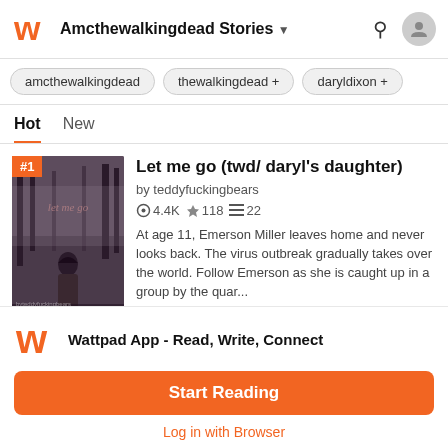Amcthewalkingdead Stories
amcthewalkingdead
thewalkingdead +
daryldixon +
Hot   New
Let me go (twd/ daryl's daughter)
by teddyfuckingbears
4.4K 118 22
At age 11, Emerson Miller leaves home and never looks back. The virus outbreak gradually takes over the world. Follow Emerson as she is caught up in a group by the quar...
Wattpad App - Read, Write, Connect
Start Reading
Log in with Browser